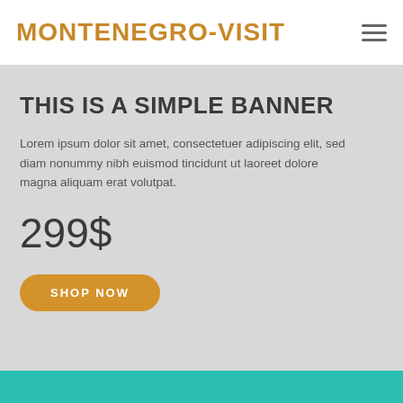MONTENEGRO-VISIT
THIS IS A SIMPLE BANNER
Lorem ipsum dolor sit amet, consectetuer adipiscing elit, sed diam nonummy nibh euismod tincidunt ut laoreet dolore magna aliquam erat volutpat.
299$
SHOP NOW